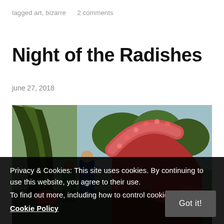tagged art, bizarre    2 comments
Night of the Radishes
june 27, 2018
[Figure (photo): Outdoor festival scene showing people working on large elaborate sculptures or displays made from radishes, with red/pink carved radish figures and arched structures in the foreground, trees and crowd visible in the background.]
Privacy & Cookies: This site uses cookies. By continuing to use this website, you agree to their use.
To find out more, including how to control cookies, see here:
Cookie Policy